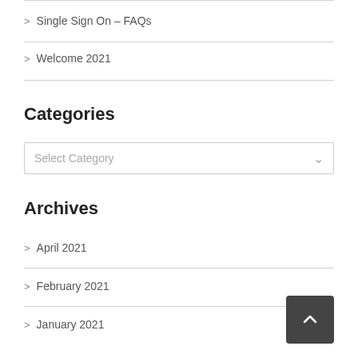Single Sign On – FAQs
Welcome 2021
Categories
Select Category
Archives
April 2021
February 2021
January 2021